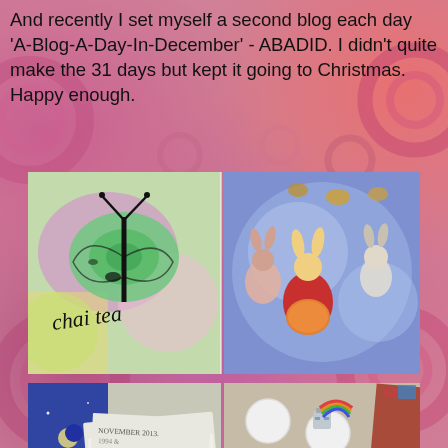And recently I set myself a second blog each day 'A-Blog-A-Day-In-December' - ABADID. I didn't quite make the 31 days but kept it going to Christmas. Happy enough.
[Figure (photo): Two photos side by side: left shows a colorful art piece with a butterfly and hand-written text 'chai tea'; right shows a fantasy illustration with rabbit-eared characters in red costume, a skeleton figure and other characters on a blue background.]
[Figure (photo): Two photos side by side: left shows handwritten cards/notes labeled 'Christmas Noos', 'Christmas blog', 'Christmas days', 'Christmas dates' on white envelopes with a night-sky background; right shows various enamel pin badges including cat faces, an orange octopus, a robot, and other colorful shapes on a wooden surface.]